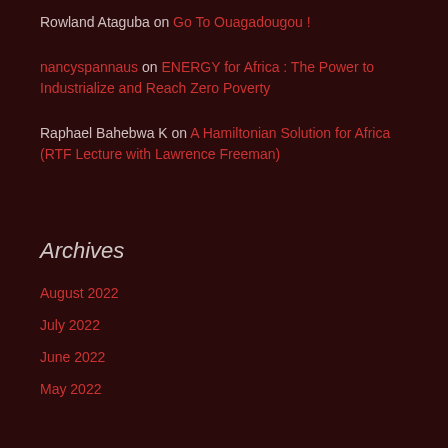Rowland Ataguba on Go To Ouagadougou !
nancyspannaus on ENERGY for Africa : The Power to Industrialize and Reach Zero Poverty
Raphael Bahebwa K on A Hamiltonian Solution for Africa (RTF Lecture with Lawrence Freeman)
Archives
August 2022
July 2022
June 2022
May 2022